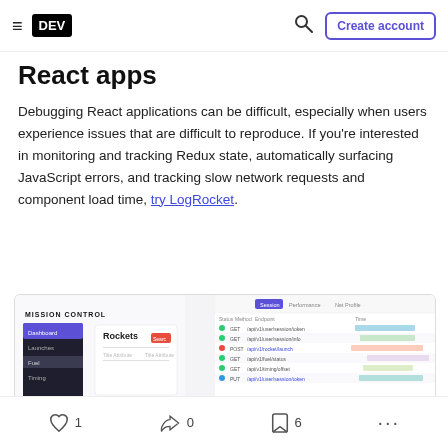DEV | Create account
React apps
Debugging React applications can be difficult, especially when users experience issues that are difficult to reproduce. If you’re interested in monitoring and tracking Redux state, automatically surfacing JavaScript errors, and tracking slow network requests and component load time, try LogRocket.
[Figure (screenshot): Screenshot of LogRocket dashboard showing Mission Control interface with Rockets panel on left and network request timeline on right]
1 ♥  0 reactions  6 bookmarks  ...